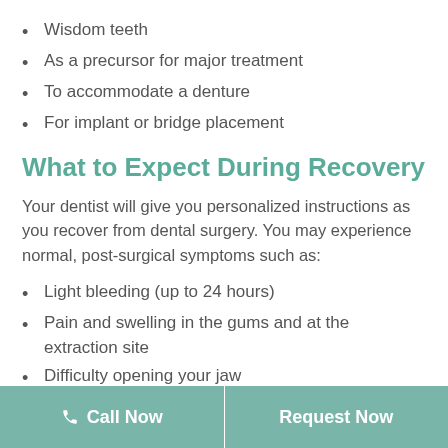Wisdom teeth
As a precursor for major treatment
To accommodate a denture
For implant or bridge placement
What to Expect During Recovery
Your dentist will give you personalized instructions as you recover from dental surgery. You may experience normal, post-surgical symptoms such as:
Light bleeding (up to 24 hours)
Pain and swelling in the gums and at the extraction site
Difficulty opening your jaw
Dry socket (an inflammation occurring if the blood clot is lost too soon)
Numbness of the mouth and lips
Call Now | Request Now